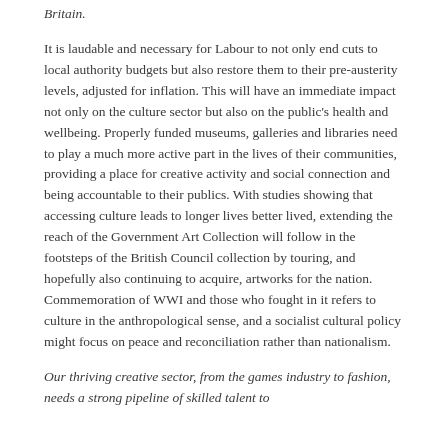Britain.
It is laudable and necessary for Labour to not only end cuts to local authority budgets but also restore them to their pre-austerity levels, adjusted for inflation. This will have an immediate impact not only on the culture sector but also on the public's health and wellbeing. Properly funded museums, galleries and libraries need to play a much more active part in the lives of their communities, providing a place for creative activity and social connection and being accountable to their publics. With studies showing that accessing culture leads to longer lives better lived, extending the reach of the Government Art Collection will follow in the footsteps of the British Council collection by touring, and hopefully also continuing to acquire, artworks for the nation. Commemoration of WWI and those who fought in it refers to culture in the anthropological sense, and a socialist cultural policy might focus on peace and reconciliation rather than nationalism.
Our thriving creative sector, from the games industry to fashion, needs a strong pipeline of skilled talent to